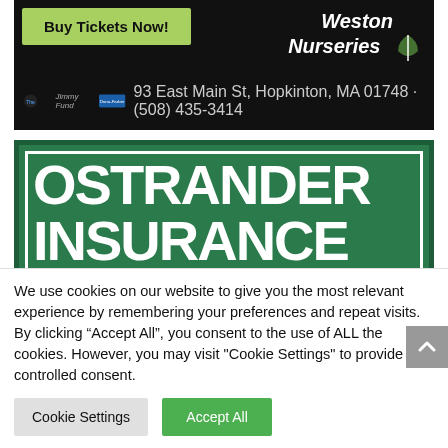[Figure (advertisement): Top advertisement banner: dark background, 'Buy Tickets Now!' green button on left, 'Weston Nurseries' logo/text on right, Jimmy Fund and Dana-Farber Cancer Institute logos, address: 93 East Main St, Hopkinton, MA 01748 · (508) 435-3414]
[Figure (advertisement): Ostrander Insurance green advertisement with large white bold text 'OSTRANDER INSURANCE', photo of Paul (agent), and text 'Contact Paul for a [quote]']
We use cookies on our website to give you the most relevant experience by remembering your preferences and repeat visits. By clicking “Accept All”, you consent to the use of ALL the cookies. However, you may visit "Cookie Settings" to provide a controlled consent.